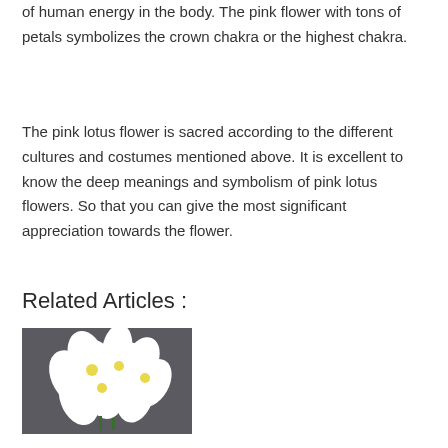of human energy in the body. The pink flower with tons of petals symbolizes the crown chakra or the highest chakra.
The pink lotus flower is sacred according to the different cultures and costumes mentioned above. It is excellent to know the deep meanings and symbolism of pink lotus flowers. So that you can give the most significant appreciation towards the flower.
Related Articles :
[Figure (photo): White flowers with yellow centers arranged in a bouquet against a dark gray background]